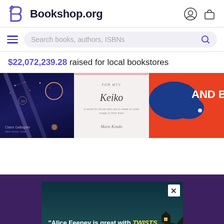[Figure (screenshot): Bookshop.org website screenshot showing logo, search bar, fundraising amount, book covers strip, and an advertisement banner for Alice Feeney]
Bookshop.org
$22,072,239.28 raised for local bookstores
[Figure (photo): Three book covers in a horizontal strip: a dark navy cover with moon and star motifs by Claire Gallagher, a light pink cover for Keiko by Marie Kondo, and a red-orange cover with blue bird illustration]
[Figure (photo): Advertisement banner on dark purple background: 'Alice Feeney is great with TWISTS AND TURNS.' — HARLAN COBEN, with a moody seascape and lit house image]